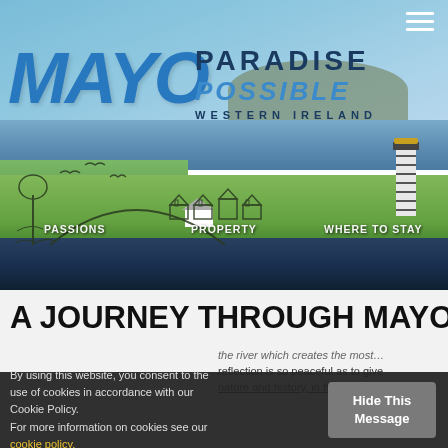[Figure (screenshot): Mayo Paradise Possible Western Ireland website header with coastal landscape photo, navigation icons for Passions, Property, Where to Stay]
A JOURNEY THROUGH MAYO - DAY
the river which creates the most... reflection is so peaceful as to give nature and history, in that place, h...
By using this website, you consent to the use of cookies in accordance with our Cookie Policy.
For more information on cookies see our cookie policy.
Hide This Message